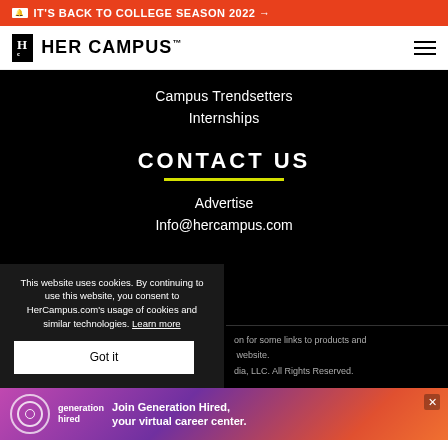🔔 IT'S BACK TO COLLEGE SEASON 2022 →
[Figure (logo): Her Campus logo with HC monogram in black box and HER CAMPUS text]
Campus Trendsetters
Internships
CONTACT US
Advertise
Info@hercampus.com
This website uses cookies. By continuing to use this website, you consent to HerCampus.com's usage of cookies and similar technologies. Learn more
Got it
on for some links to products and website. dia, LLC. All Rights Reserved.
[Figure (infographic): Advertisement banner: Join Generation Hired, your virtual career center. Pink/purple gradient background with Generation Hired logo.]